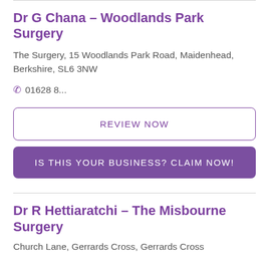Dr G Chana - Woodlands Park Surgery
The Surgery, 15 Woodlands Park Road, Maidenhead, Berkshire, SL6 3NW
01628 8...
REVIEW NOW
IS THIS YOUR BUSINESS? CLAIM NOW!
Dr R Hettiaratchi - The Misbourne Surgery
Church Lane, Gerrards Cross, Gerrards Cross